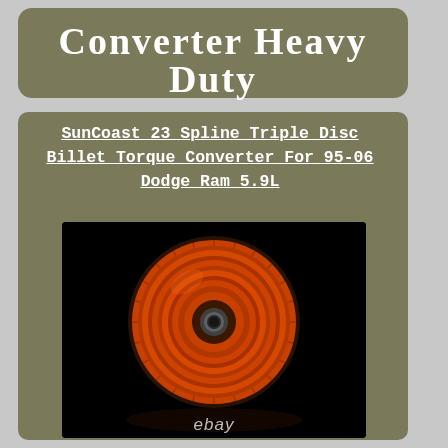Converter Heavy Duty
SunCoast 23 Spline Triple Disc Billet Torque Converter For 95-06 Dodge Ram 5.9L
[Figure (photo): Red/orange torque converter (SunCoast billet triple disc) photographed against black background with reflection, with ebay watermark at bottom]
ebay